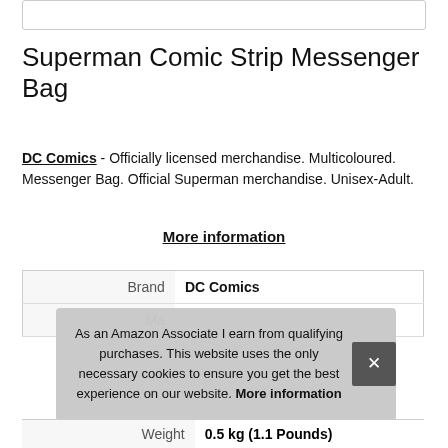Superman Comic Strip Messenger Bag
DC Comics - Officially licensed merchandise. Multicoloured. Messenger Bag. Official Superman merchandise. Unisex-Adult.
More information
|  |  |
| --- | --- |
| Brand | DC Comics |
| Ma... |  |
| Weight | 0.5 kg (1.1 Pounds) |
As an Amazon Associate I earn from qualifying purchases. This website uses the only necessary cookies to ensure you get the best experience on our website. More information